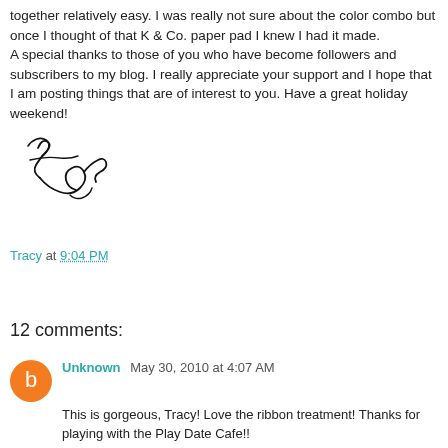together relatively easy. I was really not sure about the color combo but once I thought of that K & Co. paper pad I knew I had it made.
A special thanks to those of you who have become followers and subscribers to my blog. I really appreciate your support and I hope that I am posting things that are of interest to you. Have a great holiday weekend!
[Figure (illustration): Cursive handwritten signature reading 'Tracy']
Tracy at 9:04 PM
Share
12 comments:
Unknown  May 30, 2010 at 4:07 AM
This is gorgeous, Tracy! Love the ribbon treatment! Thanks for playing with the Play Date Cafe!!
Reply